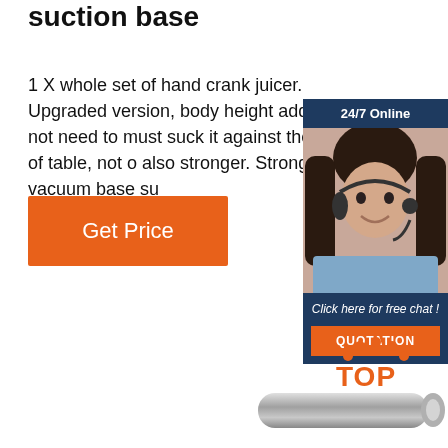suction base
1 X whole set of hand crank juicer. Upgraded version, body height added, not need to must suck it against the edge of table, not o... also stronger. Strong vacuum base su...
[Figure (other): Orange 'Get Price' button]
[Figure (other): 24/7 Online chat widget with photo of woman with headset, 'Click here for free chat!' text, and orange QUOTATION button]
[Figure (other): Orange dots and TOP text badge logo]
[Figure (other): Partial image of a metal juicer/cylindrical object at bottom right]